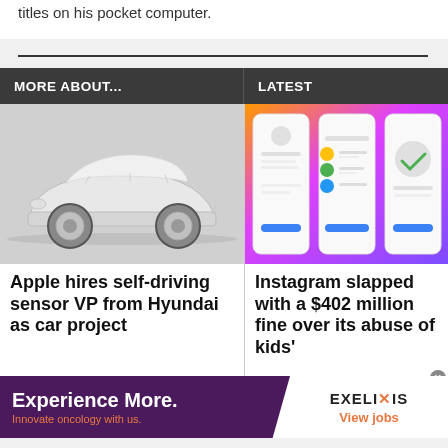titles on his pocket computer.
MORE ABOUT...
LATEST
[Figure (photo): Concept car, white futuristic vehicle with chrome wheels on reflective surface]
Apple hires self-driving sensor VP from Hyundai as car project
[Figure (screenshot): Three smartphone screens showing Instagram app interface on colorful gradient background]
Instagram slapped with a $402 million fine over its abuse of kids'
[Figure (infographic): Advertisement banner: Experience More. Innovate oncology with us. EXELIXIS View jobs]